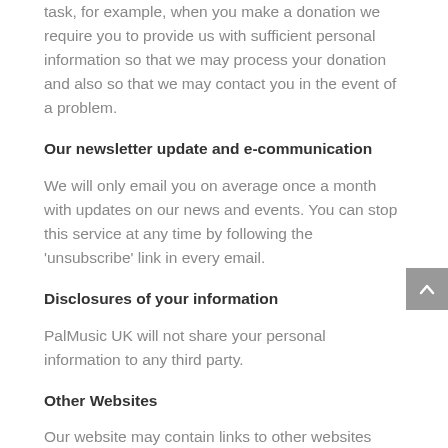task, for example, when you make a donation we require you to provide us with sufficient personal information so that we may process your donation and also so that we may contact you in the event of a problem.
Our newsletter update and e-communication
We will only email you on average once a month with updates on our news and events. You can stop this service at any time by following the 'unsubscribe' link in every email.
Disclosures of your information
PalMusic UK will not share your personal information to any third party.
Other Websites
Our website may contain links to other websites which are outside our control and are not covered by